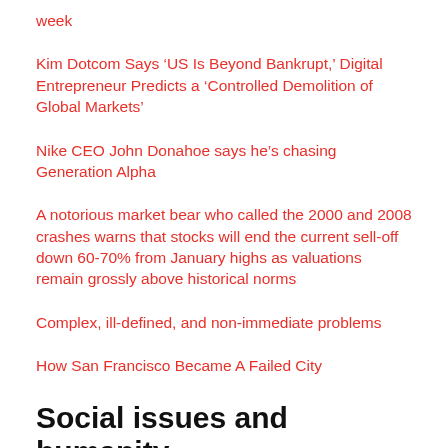week
Kim Dotcom Says ‘US Is Beyond Bankrupt,’ Digital Entrepreneur Predicts a ‘Controlled Demolition of Global Markets’
Nike CEO John Donahoe says he’s chasing Generation Alpha
A notorious market bear who called the 2000 and 2008 crashes warns that stocks will end the current sell-off down 60-70% from January highs as valuations remain grossly above historical norms
Complex, ill-defined, and non-immediate problems
How San Francisco Became A Failed City
Social issues and humanity